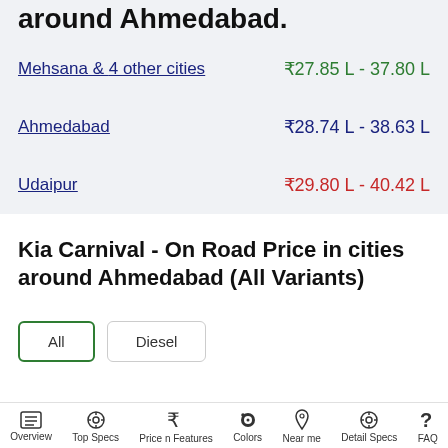around Ahmedabad.
Mehsana & 4 other cities — ₹27.85 L - 37.80 L
Ahmedabad — ₹28.74 L - 38.63 L
Udaipur — ₹29.80 L - 40.42 L
Kia Carnival - On Road Price in cities around Ahmedabad (All Variants)
All | Diesel
Overview | Top Specs | Price n Features | Colors | Near me | Detail Specs | FAQ